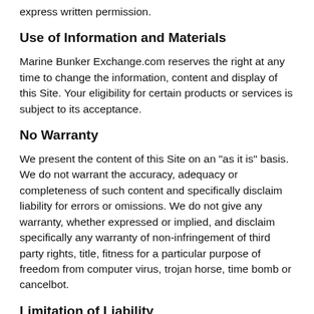express written permission.
Use of Information and Materials
Marine Bunker Exchange.com reserves the right at any time to change the information, content and display of this Site. Your eligibility for certain products or services is subject to its acceptance.
No Warranty
We present the content of this Site on an "as it is" basis. We do not warrant the accuracy, adequacy or completeness of such content and specifically disclaim liability for errors or omissions. We do not give any warranty, whether expressed or implied, and disclaim specifically any warranty of non-infringement of third party rights, title, fitness for a particular purpose of freedom from computer virus, trojan horse, time bomb or cancelbot.
Limitation of Liability
You agree that Marine Bunker Exchange will not be liable for any special, direct, indirect, incidental or consequential damages arising in connection with this site, your use of it, your inability to use it, any failure to perform, error